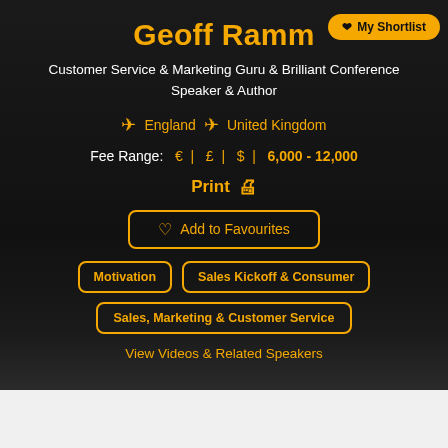Geoff Ramm
Customer Service & Marketing Guru & Brilliant Conference Speaker & Author
✈ England  ✈ United Kingdom
Fee Range:  € |  £ |  $ |  6,000 - 12,000
Print 🖶
♡ Add to Favourites
Motivation
Sales Kickoff & Consumer
Sales, Marketing & Customer Service
View Videos & Related Speakers